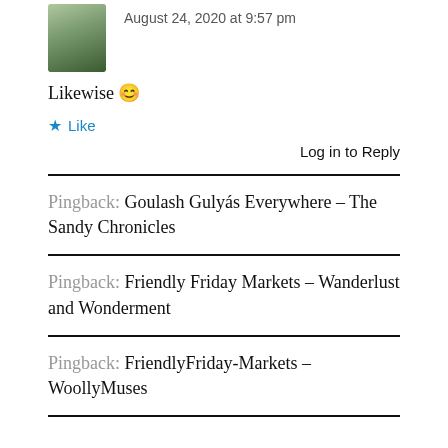August 24, 2020 at 9:57 pm
Likewise 😊
★ Like
Log in to Reply
Pingback: Goulash Gulyás Everywhere – The Sandy Chronicles
Pingback: Friendly Friday Markets – Wanderlust and Wonderment
Pingback: FriendlyFriday-Markets – WoollyMuses